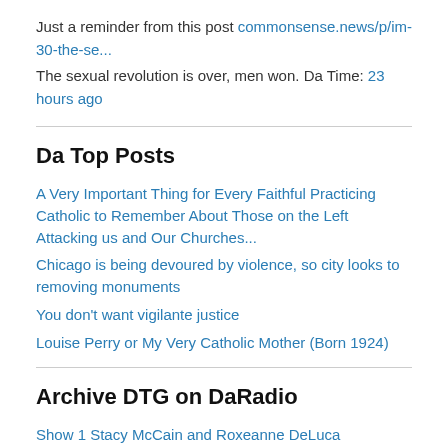Just a reminder from this post commonsense.news/p/im-30-the-se...
The sexual revolution is over, men won. Da Time: 23 hours ago
Da Top Posts
A Very Important Thing for Every Faithful Practicing Catholic to Remember About Those on the Left Attacking us and Our Churches...
Chicago is being devoured by violence, so city looks to removing monuments
You don't want vigilante justice
Louise Perry or My Very Catholic Mother (Born 1924)
Archive DTG on DaRadio
Show 1 Stacy McCain and Roxeanne DeLuca
Show 2 The Lonely Conservative and DaScienceGuy
Show 3: Sissy Willis and Roxeanne DeLuca